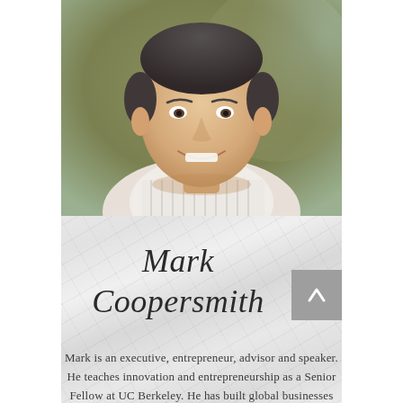[Figure (photo): Professional headshot of Mark Coopersmith, a middle-aged man with short dark hair, smiling, wearing a striped collared shirt, with a blurred green/golden background.]
Mark Coopersmith
Mark is an executive, entrepreneur, advisor and speaker. He teaches innovation and entrepreneurship as a Senior Fellow at UC Berkeley. He has built global businesses for